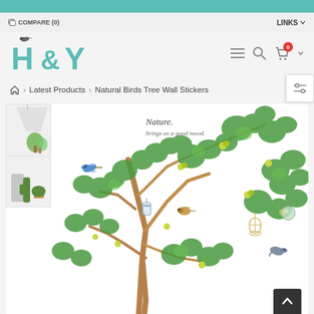COMPARE (0)   LINKS
[Figure (logo): H&Y logo with bird illustration in teal color]
Natural Birds Tree Wall Stickers breadcrumb: Home > Latest Products > Natural Birds Tree Wall Stickers
[Figure (photo): Product image of Natural Birds Tree Wall Stickers showing a decorative tree with birds, birdcages, and green leaves on a white background, with room setting thumbnails on the left side]